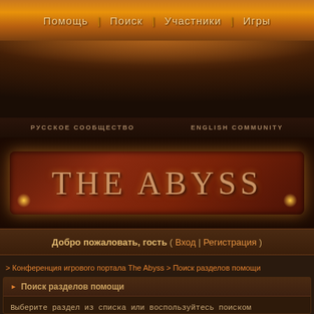Помощь | Поиск | Участники | Игры
[Figure (illustration): Decorative arch/dome dark brown stone background]
РУССКОЕ СООБЩЕСТВО    ENGLISH COMMUNITY
[Figure (illustration): The Abyss game portal logo banner on dark red scroll background with glowing effects]
Добро пожаловать, гость ( Вход | Регистрация )
> Конференция игрового портала The Abyss > Поиск разделов помощи
► Поиск разделов помощи
Выберите раздел из списка или воспользуйтесь поиском раздела
Введите ключевые слова для поиска
Вперёд